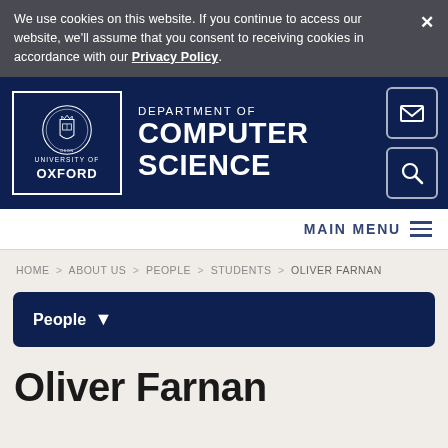We use cookies on this website. If you continue to access our website, we'll assume that you consent to receiving cookies in accordance with our Privacy Policy.
[Figure (logo): University of Oxford crest logo with text 'UNIVERSITY OF OXFORD' inside a bordered box]
DEPARTMENT OF COMPUTER SCIENCE
MAIN MENU
HOME > ABOUT US > PEOPLE > STUDENTS > OLIVER FARNAN
People
Oliver Farnan